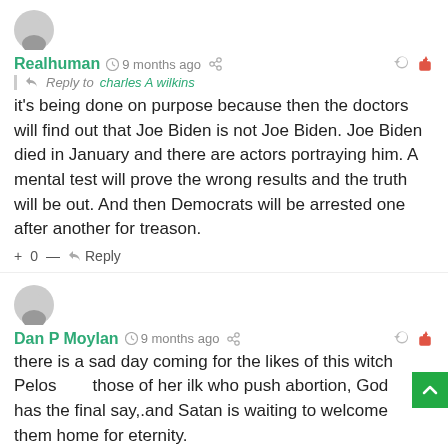[Figure (illustration): User avatar icon (grey circle with person silhouette) for Realhuman]
Realhuman  9 months ago
Reply to charles A wilkins
it's being done on purpose because then the doctors will find out that Joe Biden is not Joe Biden. Joe Biden died in January and there are actors portraying him. A mental test will prove the wrong results and the truth will be out. And then Democrats will be arrested one after another for treason.
+ 0 —  Reply
[Figure (illustration): User avatar icon (grey circle with person silhouette) for Dan P Moylan]
Dan P Moylan  9 months ago
there is a sad day coming for the likes of this witch Pelos  those of her ilk who push abortion, God has the final say,.and Satan is waiting to welcome them home for eternity.